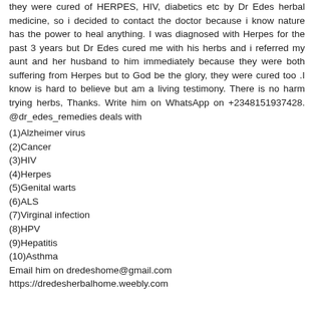they were cured of HERPES, HIV, diabetics etc by Dr Edes herbal medicine, so i decided to contact the doctor because i know nature has the power to heal anything. I was diagnosed with Herpes for the past 3 years but Dr Edes cured me with his herbs and i referred my aunt and her husband to him immediately because they were both suffering from Herpes but to God be the glory, they were cured too .I know is hard to believe but am a living testimony. There is no harm trying herbs, Thanks. Write him on WhatsApp on +2348151937428. @dr_edes_remedies deals with
(1)Alzheimer virus
(2)Cancer
(3)HIV
(4)Herpes
(5)Genital warts
(6)ALS
(7)Virginal infection
(8)HPV
(9)Hepatitis
(10)Asthma
Email him on dredeshome@gmail.com
https://dredesherbalhome.weebly.com